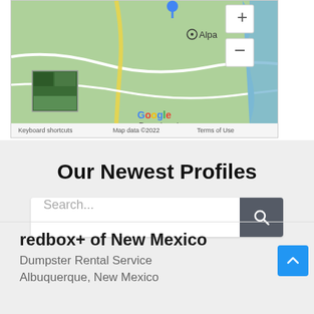[Figure (map): Google Maps partial screenshot showing Dymchurch area with Alpa label, Google branding, +/- zoom controls, keyboard shortcuts and Map data ©2022 Terms of Use footer]
Our Newest Profiles
[Figure (screenshot): Search bar with placeholder text 'Search...' and a dark grey search button with magnifying glass icon]
redbox+ of New Mexico
Dumpster Rental Service
Albuquerque, New Mexico